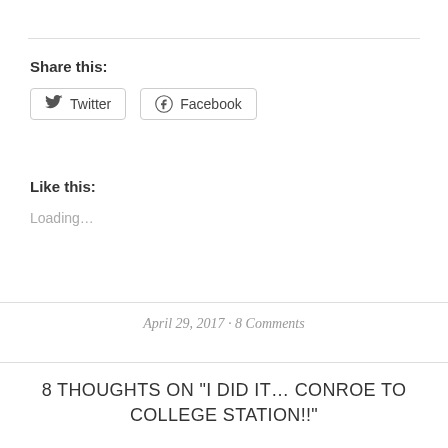Share this:
Twitter  Facebook
Like this:
Loading…
April 29, 2017 · 8 Comments
8 THOUGHTS ON “I DID IT… CONROE TO COLLEGE STATION!!”